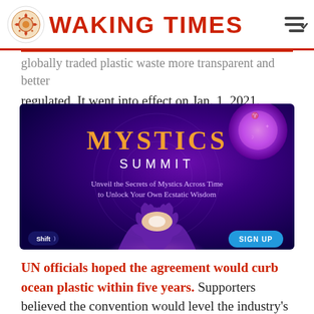WAKING TIMES
globally traded plastic waste more transparent and better regulated. It went into effect on Jan. 1, 2021.
[Figure (advertisement): Mystics Summit advertisement banner with purple/blue background showing hands glowing with light, text reads 'MYSTICS SUMMIT - Unveil the Secrets of Mystics Across Time to Unlock Your Own Ecstatic Wisdom' with Shift logo and SIGN UP button]
UN officials hoped the agreement would curb ocean plastic within five years. Supporters believed the convention would level the industry's global playing field